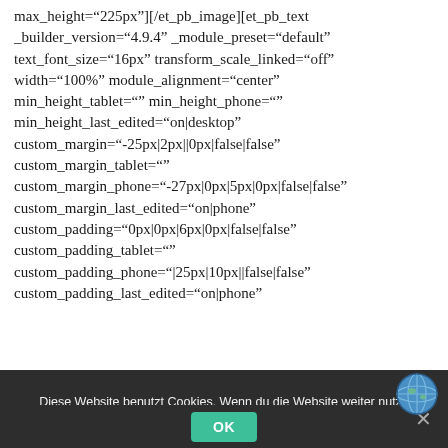max_height="225px"][/et_pb_image][et_pb_text _builder_version="4.9.4" _module_preset="default" text_font_size="16px" transform_scale_linked="off" width="100%" module_alignment="center" min_height_tablet="" min_height_phone="" min_height_last_edited="on|desktop" custom_margin="-25px|2px||0px|false|false" custom_margin_tablet="" custom_margin_phone="-27px|0px|5px|0px|false|false" custom_margin_last_edited="on|phone" custom_padding="0px|0px|6px|0px|false|false" custom_padding_tablet="" custom_padding_phone="|25px|10px||false|false" custom_padding_last_edited="on|phone"
Diese Website benutzt Cookies. Wenn du die Website weiter nutzt, gehen wir von deinem Einverständnis aus.